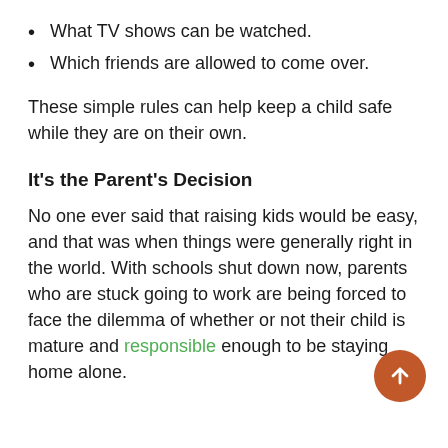What TV shows can be watched.
Which friends are allowed to come over.
These simple rules can help keep a child safe while they are on their own.
It's the Parent's Decision
No one ever said that raising kids would be easy, and that was when things were generally right in the world. With schools shut down now, parents who are stuck going to work are being forced to face the dilemma of whether or not their child is mature and responsible enough to be staying home alone.